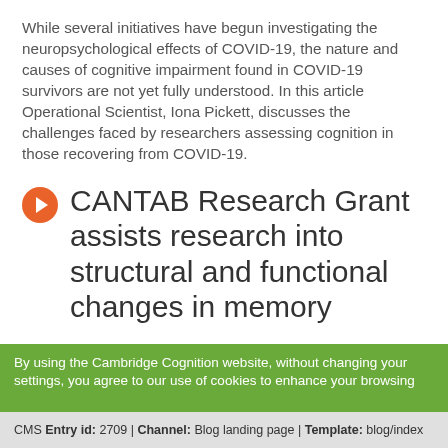While several initiatives have begun investigating the neuropsychological effects of COVID-19, the nature and causes of cognitive impairment found in COVID-19 survivors are not yet fully understood. In this article Operational Scientist, Iona Pickett, discusses the challenges faced by researchers assessing cognition in those recovering from COVID-19.
CANTAB Research Grant assists research into structural and functional changes in memory
By using the Cambridge Cognition website, without changing your settings, you agree to our use of cookies to enhance your browsing
CMS Entry id: 2709 | Channel: Blog landing page | Template: blog/index